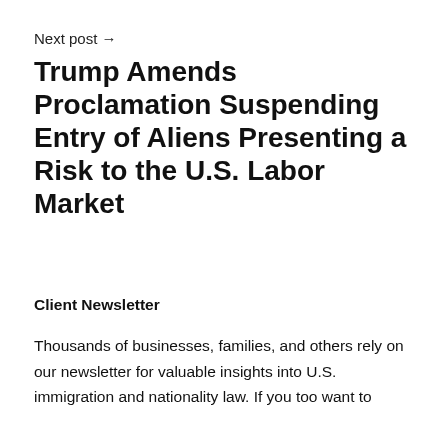Next post →
Trump Amends Proclamation Suspending Entry of Aliens Presenting a Risk to the U.S. Labor Market
Client Newsletter
Thousands of businesses, families, and others rely on our newsletter for valuable insights into U.S. immigration and nationality law. If you too want to